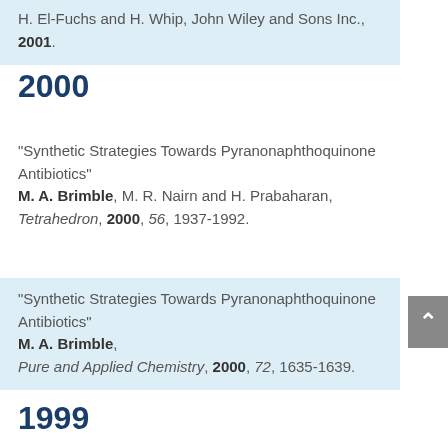H. El-Fuchs and H. Whip, John Wiley and Sons Inc., 2001.
2000
"Synthetic Strategies Towards Pyranonaphthoquinone Antibiotics" M. A. Brimble, M. R. Nairn and H. Prabaharan, Tetrahedron, 2000, 56, 1937-1992.
"Synthetic Strategies Towards Pyranonaphthoquinone Antibiotics" M. A. Brimble, Pure and Applied Chemistry, 2000, 72, 1635-1639.
1999